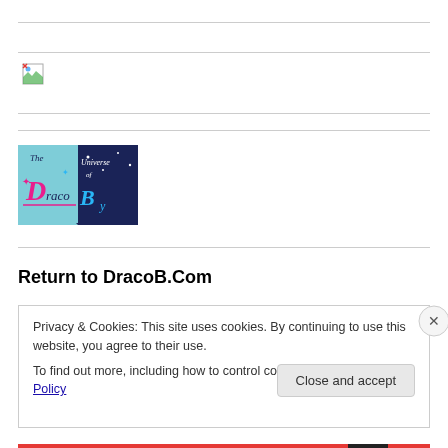[Figure (illustration): Broken image placeholder icon in a row with top and bottom horizontal rule lines]
[Figure (logo): The Universe of DracoB logo - teal and dark blue square with stylized text and stars]
Return to DracoB.Com
Privacy & Cookies: This site uses cookies. By continuing to use this website, you agree to their use.
To find out more, including how to control cookies, see here: Cookie Policy
Close and accept